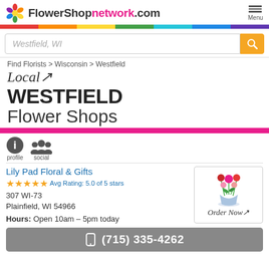FlowerShopnetwork.com
Westfield, WI
Find Florists > Wisconsin > Westfield
Local WESTFIELD Flower Shops
profile  social
Lily Pad Floral & Gifts
Avg Rating: 5.0 of 5 stars
307 WI-73
Plainfield, WI 54966
Hours: Open 10am – 5pm today
[Figure (photo): Flower arrangement with pink and red flowers in a glass vase, with Order Now button]
(715) 335-4262